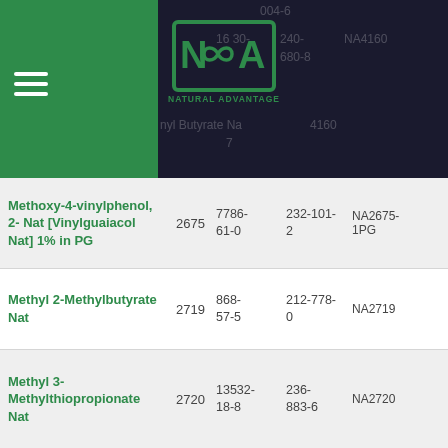Natural Advantage product listing page header
| Name | FEMA | CAS | EINECS | SKU |
| --- | --- | --- | --- | --- |
| Methoxy-4-vinylphenol, 2- Nat [Vinylguaiacol Nat] 1% in PG | 2675 | 7786-61-0 | 232-101-2 | NA2675-1PG |
| Methyl 2-Methylbutyrate Nat | 2719 | 868-57-5 | 212-778-0 | NA2719 |
| Methyl 3-Methylthiopropionate Nat | 2720 | 13532-18-8 | 236-883-6 | NA2720 |
| Methyl Amyl Ketone Nat | 2544 | 110-43-0 | 203-767-1 | NA2544 |
| Methyl Butyrate Nat | 2693 | 623-42-7 | 210-792-1 | NA2693 |